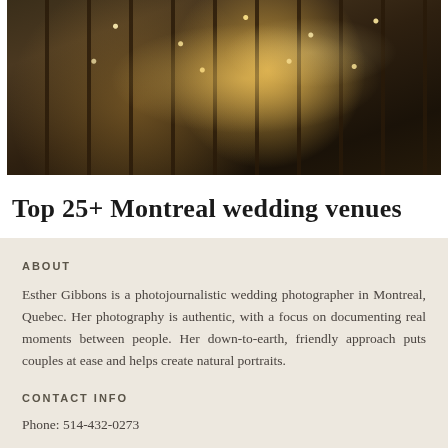[Figure (photo): Indoor wedding venue with warm string lights hanging from a tent-like ceiling with dark wooden beams, large windows looking into trees, and a crowd of people at tables below]
Top 25+ Montreal wedding venues
ABOUT
Esther Gibbons is a photojournalistic wedding photographer in Montreal, Quebec. Her photography is authentic, with a focus on documenting real moments between people. Her down-to-earth, friendly approach puts couples at ease and helps create natural portraits.
CONTACT INFO
Phone: 514-432-0273